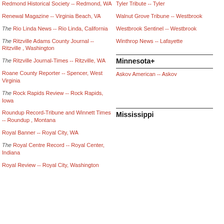Redmond Historical Society -- Redmond, WA
Renewal Magazine -- Virginia Beach, VA
The Rio Linda News -- Rio Linda, California
The Ritzville Adams County Journal -- Ritzville , Washington
The Ritzville Journal-Times -- Ritzville, WA
Roane County Reporter -- Spencer, West Virginia
The Rock Rapids Review -- Rock Rapids, Iowa
Roundup Record-Tribune and Winnett Times -- Roundup , Montana
Royal Banner -- Royal City, WA
The Royal Centre Record -- Royal Center, Indiana
Royal Review -- Royal City, Washington
Tyler Tribute -- Tyler
Walnut Grove Tribune -- Westbrook
Westbrook Sentinel -- Westbrook
Winthrop News -- Lafayette
Minnesota+
Askov American -- Askov
Mississippi